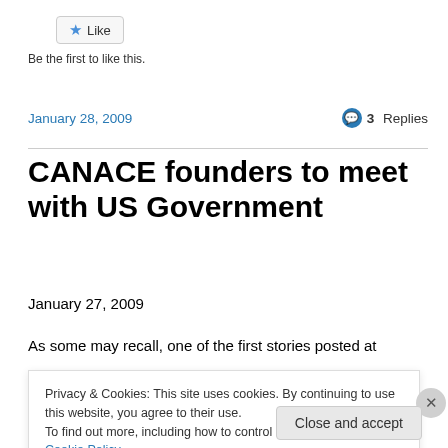[Figure (other): Like button with star icon]
Be the first to like this.
January 28, 2009
3 Replies
CANACE founders to meet with US Government
January 27, 2009
As some may recall, one of the first stories posted at
Privacy & Cookies: This site uses cookies. By continuing to use this website, you agree to their use.
To find out more, including how to control cookies, see here: Cookie Policy
Close and accept
same page is easy. And free.